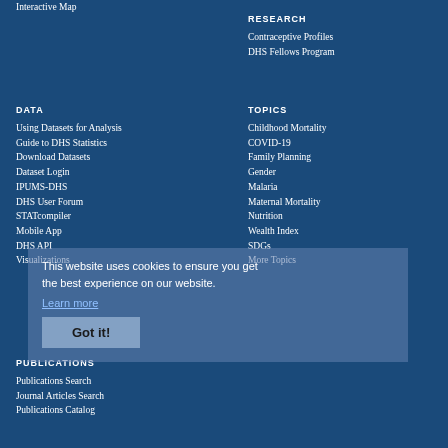Interactive Map
RESEARCH
Contraceptive Profiles
DHS Fellows Program
DATA
TOPICS
Using Datasets for Analysis
Childhood Mortality
Guide to DHS Statistics
COVID-19
Download Datasets
Family Planning
Dataset Login
Gender
IPUMS-DHS
Malaria
DHS User Forum
Maternal Mortality
STATcompiler
Nutrition
Mobile App
Wealth Index
DHS API
SDGs
Visualizations
More Topics
This website uses cookies to ensure you get the best experience on our website.
Learn more
Got it!
PUBLICATIONS
Publications Search
Journal Articles Search
Publications Catalog